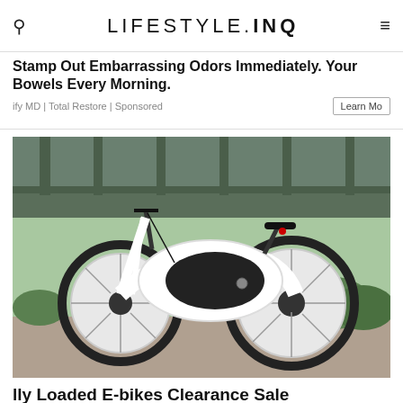LIFESTYLE.INQ
Stamp Out Embarrassing Odors Immediately. Your Bowels Every Morning. ify MD | Total Restore | Sponsored
[Figure (photo): A futuristic white electric bicycle with large wheels, parked under a green bridge overpass with vegetation in the background.]
lly Loaded E-bikes Clearance Sale
tes | Sponsored